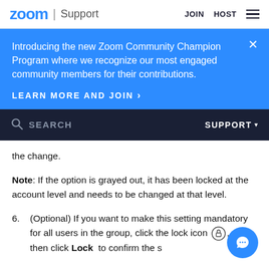zoom | Support   JOIN   HOST
Introducing the new Zoom Community Champion Program where we recognize our most engaged community members for their contributions.
LEARN MORE AND JOIN >
SEARCH   SUPPORT
the change.
Note: If the option is grayed out, it has been locked at the account level and needs to be changed at that level.
6. (Optional) If you want to make this setting mandatory for all users in the group, click the lock icon, and then click Lock to confirm the s